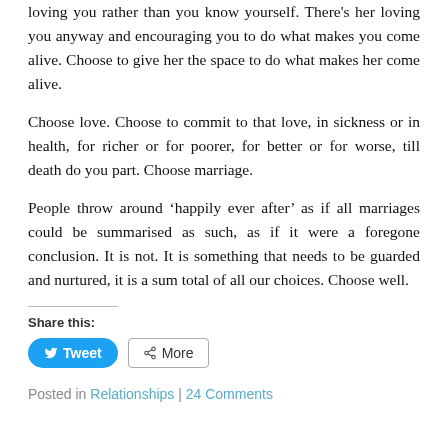loving you rather than you know yourself. There’s her loving you anyway and encouraging you to do what makes you come alive. Choose to give her the space to do what makes her come alive.
Choose love. Choose to commit to that love, in sickness or in health, for richer or for poorer, for better or for worse, till death do you part. Choose marriage.
People throw around ‘happily ever after’ as if all marriages could be summarised as such, as if it were a foregone conclusion. It is not. It is something that needs to be guarded and nurtured, it is a sum total of all our choices. Choose well.
Share this:
Posted in Relationships | 24 Comments